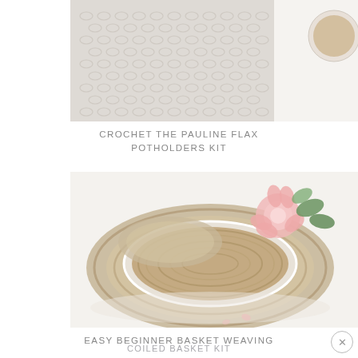[Figure (photo): Close-up photo of a crochet potholder in natural/white flax yarn with a cup of coffee visible in the upper right corner, against a white background.]
CROCHET THE PAULINE FLAX POTHOLDERS KIT
[Figure (photo): Overhead photo of two round coiled baskets made of natural jute/twine with white cotton wrapped edges, with a pink carnation flower and green leaves placed inside the top basket, against a white background.]
EASY BEGINNER BASKET WEAVING
COILED BASKET KIT